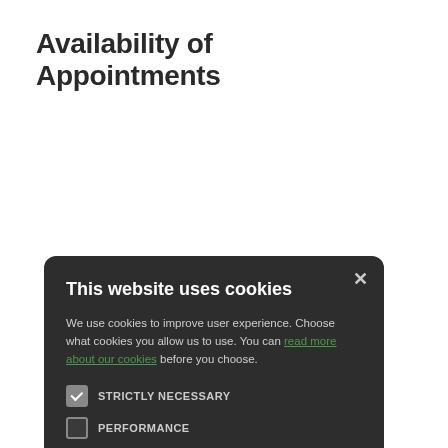Availability of Appointments
[Figure (screenshot): Cookie consent modal dialog with dark background. Contains title 'This website uses cookies', explanatory text with a green link 'read more about our cookies', four checkboxes (STRICTLY NECESSARY checked, PERFORMANCE, TARGETING, FUNCTIONALITY unchecked), and two buttons: 'ACCEPT ALL' (green) and 'DECLINE ALL' (outlined). A close X button is in the top-right corner.]